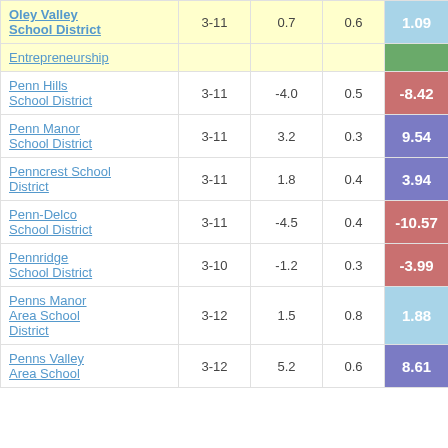| District | Grades |  |  | Score |
| --- | --- | --- | --- | --- |
| Oley Valley School District | 3-11 | 0.7 | 0.6 | 1.09 |
| Entrepreneurship |  |  |  |  |
| Penn Hills School District | 3-11 | -4.0 | 0.5 | -8.42 |
| Penn Manor School District | 3-11 | 3.2 | 0.3 | 9.54 |
| Penncrest School District | 3-11 | 1.8 | 0.4 | 3.94 |
| Penn-Delco School District | 3-11 | -4.5 | 0.4 | -10.57 |
| Pennridge School District | 3-10 | -1.2 | 0.3 | -3.99 |
| Penns Manor Area School District | 3-12 | 1.5 | 0.8 | 1.88 |
| Penns Valley Area School | 3-12 | 5.2 | 0.6 | 8.61 |